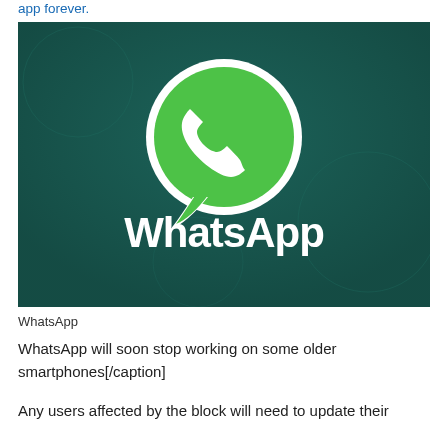app forever.
[Figure (logo): WhatsApp logo on dark teal background with green speech bubble phone icon and white 'WhatsApp' text]
WhatsApp
WhatsApp will soon stop working on some older smartphones[/caption]
Any users affected by the block will need to update their